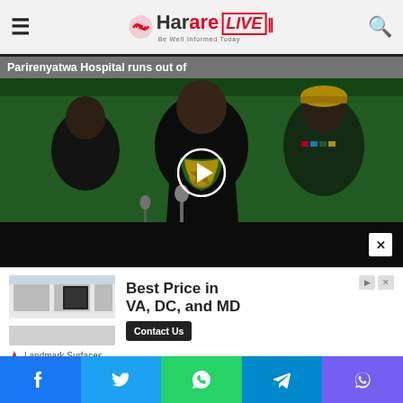Harare Live — Be Well Informed Today
Parirenyatwa Hospital runs out of
[Figure (photo): Photo of President Emmerson Mnangagwa flanked by two officials at an outdoor ceremony. He wears a suit with a green/yellow presidential sash and medals. One official wears a military uniform with a yellow beret. A play button overlay is visible indicating a video player.]
[Figure (infographic): Advertisement banner for Landmark Surfaces showing a modern kitchen interior photo, text 'Best Price in VA, DC, and MD' and a 'Contact Us' button in black.]
Social share buttons: Facebook, Twitter, WhatsApp, Telegram, Viber